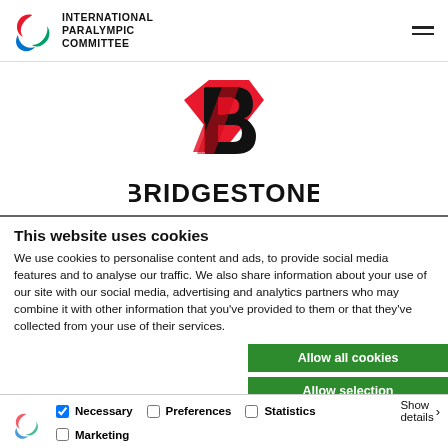INTERNATIONAL PARALYMPIC COMMITTEE
[Figure (logo): Bridgestone logo with stylized B mark in red and black, text BRIDGESTONE below]
This website uses cookies
We use cookies to personalise content and ads, to provide social media features and to analyse our traffic. We also share information about your use of our site with our social media, advertising and analytics partners who may combine it with other information that you've provided to them or that they've collected from your use of their services.
Allow all cookies
Allow selection
Use necessary cookies only
Necessary  Preferences  Statistics  Marketing  Show details